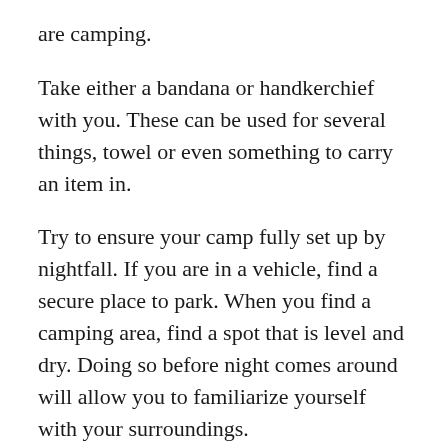are camping.
Take either a bandana or handkerchief with you. These can be used for several things, towel or even something to carry an item in.
Try to ensure your camp fully set up by nightfall. If you are in a vehicle, find a secure place to park. When you find a camping area, find a spot that is level and dry. Doing so before night comes around will allow you to familiarize yourself with your surroundings.
Duct tape is an imperative item to include in your camping trip into the wilderness. It is as convenient for repairs while camping as it is around the house. It can